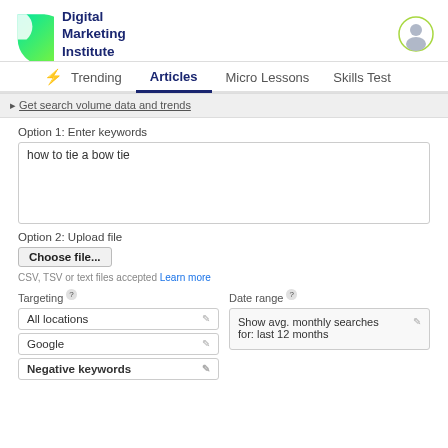[Figure (logo): Digital Marketing Institute logo - green D-shape with text]
Digital Marketing Institute
Trending  Articles  Micro Lessons  Skills Test
Get search volume data and trends
Option 1: Enter keywords
how to tie a bow tie
Option 2: Upload file
Choose file...
CSV, TSV or text files accepted Learn more
Targeting ?
Date range ?
All locations
Google
Negative keywords
Show avg. monthly searches for: last 12 months